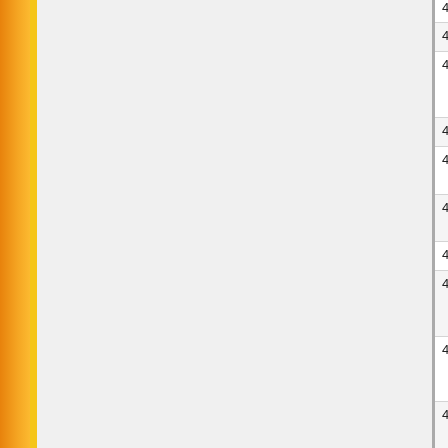| No. | Date | Title |
| --- | --- | --- |
| 445. | 16/03/2018 | Press Relea... |
| 446. | 16/03/2018 | Press Relea... |
| 447. | 08/03/2018 | Grant of Gol... Courses in J... June 2018 |
| 448. | 05/03/2018 | Quotations f... |
| 449. | 26/02/2018 | Submitting o... Centre/s dur... |
| 450. | 26/02/2018 | Submitting o... (Small pack)... |
| 451. | 26/02/2018 | Set up of hel... |
| 452. | 04/01/2018 | Capion canc... Semester (S... USOL candi... |
| 453. | 02/01/2018 | ADDITIONS... Technology)... (Regular/Rea... |
| 454. | 20/12/2017 | Examination... Advance Dip... |
| 455. | 19/12/2017 | Instruction fo... |
| 456. | 14/12/2017 | ADDITION/C... and 3rd Sem... |